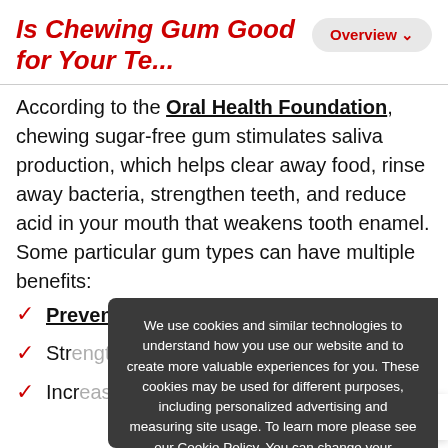Is Chewing Gum Good for Your Te...
According to the Oral Health Foundation, chewing sugar-free gum stimulates saliva production, which helps clear away food, rinse away bacteria, strengthen teeth, and reduce acid in your mouth that weakens tooth enamel. Some particular gum types can have multiple benefits:
Prevent cavities
Strengthen enamel
Increase saliva flow
We use cookies and similar technologies to understand how you use our website and to create more valuable experiences for you. These cookies may be used for different purposes, including personalized advertising and measuring site usage. To learn more please see our Cookie Policy. You can change your preferences at any time through our Cookie preferences tool.